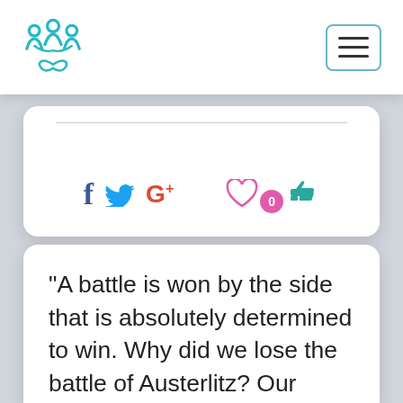[Figure (logo): Teal/blue circular logo with human figures and a heart/leaf motif]
[Figure (infographic): Social share icons: Facebook (f), Twitter (bird), Google+, heart icon, 0 badge, thumbs up icon]
“A battle is won by the side that is absolutely determined to win. Why did we lose the battle of Austerlitz? Our casualties were about the same as those of the French, but we had told ourselves early in the day